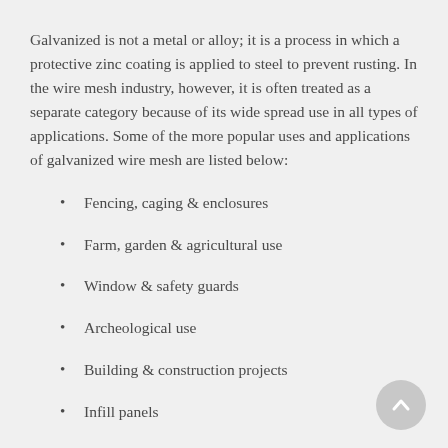Galvanized is not a metal or alloy; it is a process in which a protective zinc coating is applied to steel to prevent rusting. In the wire mesh industry, however, it is often treated as a separate category because of its wide spread use in all types of applications. Some of the more popular uses and applications of galvanized wire mesh are listed below:
Fencing, caging & enclosures
Farm, garden & agricultural use
Window & safety guards
Archeological use
Building & construction projects
Infill panels